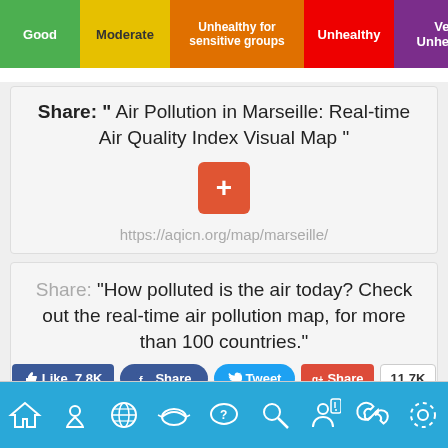[Figure (infographic): AQI color scale bar: Good (green), Moderate (yellow), Unhealthy for sensitive groups (orange), Unhealthy (red), Very Unhealthy (purple), Hazardous (dark red)]
Share: " Air Pollution in Marseille: Real-time Air Quality Index Visual Map "
https://aqicn.org/map/marseille/
[Figure (infographic): Orange plus/share button icon]
Share: "How polluted is the air today? Check out the real-time air pollution map, for more than 100 countries."
https://aqicn.org/here/
[Figure (infographic): Social sharing buttons: Like 7.8K, Share (Facebook), Tweet (Twitter), Share (Google+), count 11.7K]
[Figure (infographic): Bottom navigation bar with icons: home, location pin, globe, mask/health, FAQ/chat, search, person/alert, link, settings]